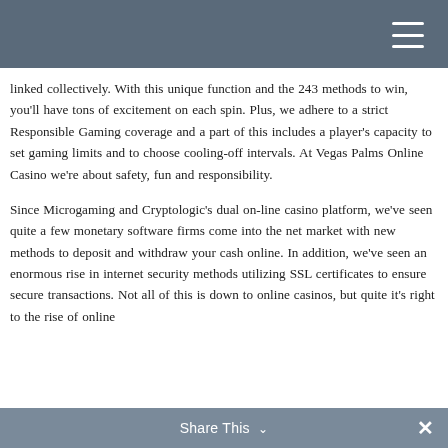linked collectively. With this unique function and the 243 methods to win, you’ll have tons of excitement on each spin. Plus, we adhere to a strict Responsible Gaming coverage and a part of this includes a player’s capacity to set gaming limits and to choose cooling-off intervals. At Vegas Palms Online Casino we’re about safety, fun and responsibility.
Since Microgaming and Cryptologic’s dual on-line casino platform, we’ve seen quite a few monetary software firms come into the net market with new methods to deposit and withdraw your cash online. In addition, we’ve seen an enormous rise in internet security methods utilizing SSL certificates to ensure secure transactions. Not all of this is down to online casinos, but quite it’s right to the rise of online
Share This